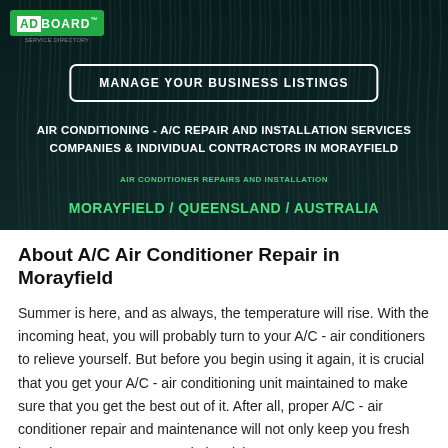[Figure (photo): Dark teal background of air conditioning fins/grilles with overlay, hero banner section]
ADBOARD™
MANAGE YOUR BUSINESS LISTINGS
AIR CONDITIONING - A/C REPAIR AND INSTALLATION SERVICES COMPANIES & INDIVIDUAL CONTRACTORS IN MORAYFIELD
AIR CONDITIONER REPAIRS AND INSTALLATION
MORAYFIELD / QUEENSLAND / AUSTRALIA
About A/C Air Conditioner Repair in Morayfield
Summer is here, and as always, the temperature will rise. With the incoming heat, you will probably turn to your A/C - air conditioners to relieve yourself. But before you begin using it again, it is crucial that you get your A/C - air conditioning unit maintained to make sure that you get the best out of it. After all, proper A/C - air conditioner repair and maintenance will not only keep you fresh but also save on energy and electricity